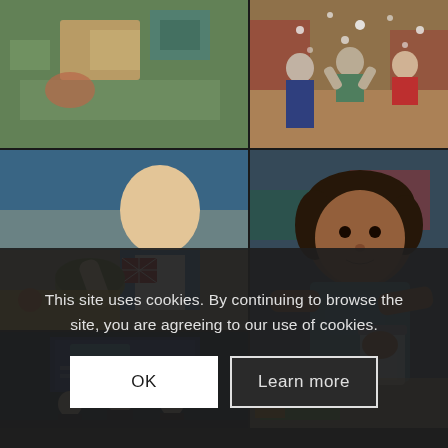[Figure (photo): Top-left: Close-up of hands and craft materials on a table with colorful items]
[Figure (photo): Middle-left: Young boy in blue Union Jack vest working with food/materials at a colorful table]
[Figure (photo): Bottom-left: Three men in formal attire on a stage with a presentation screen behind them]
[Figure (photo): Top-right: Children playing with bubbles/confetti in a large room]
[Figure (photo): Right (large): Young dark-haired child in blue apron working with a jar at a table]
This site uses cookies. By continuing to browse the site, you are agreeing to our use of cookies.
OK
Learn more